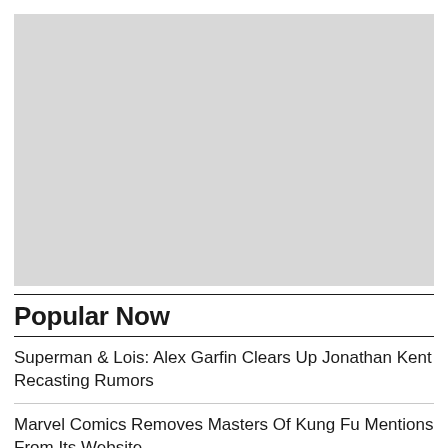[Figure (photo): Large rectangular image placeholder shown as light gray box]
Popular Now
Superman & Lois: Alex Garfin Clears Up Jonathan Kent Recasting Rumors
Marvel Comics Removes Masters Of Kung Fu Mentions From Its Website